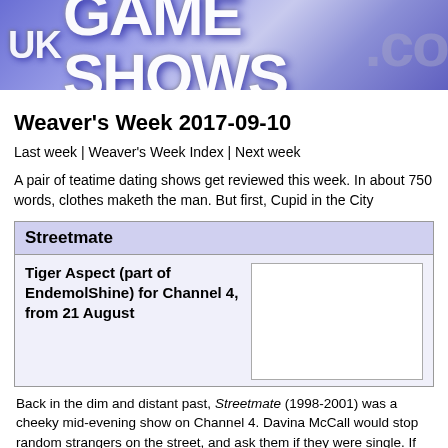[Figure (logo): UK Game Shows website banner with large white text on blue/purple gradient background]
Weaver's Week 2017-09-10
Last week | Weaver's Week Index | Next week
A pair of teatime dating shows get reviewed this week. In about 750 words, clothes maketh the man. But first, Cupid in the City
Streetmate
Tiger Aspect (part of EndemolShine) for Channel 4, from 21 August
[Figure (photo): Blank white image placeholder for Streetmate show]
Back in the dim and distant past, Streetmate (1998-2001) was a cheeky mid-evening show on Channel 4. Davina McCall would stop random strangers on the street, and ask them if they were single. If they were, she'd introduce them to someone and perhaps